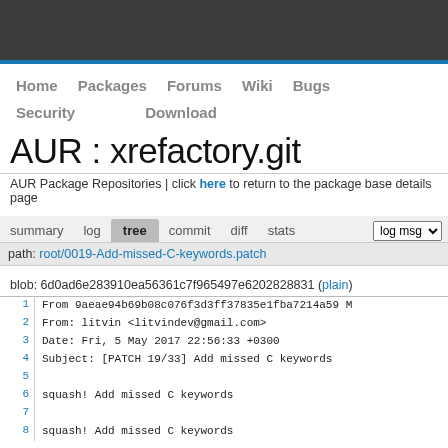Home  Packages  Forums  Wiki  Bugs  Security  Download
AUR : xrefactory.git
AUR Package Repositories | click here to return to the package base details page
summary  log  tree  commit  diff  stats  log msg
path: root/0019-Add-missed-C-keywords.patch
blob: 6d0ad6e283910ea56361c7f965497e6202828831 (plain)
| # | code |
| --- | --- |
| 1 | From 9aeae94b69b08c076f3d3ff37835e1fba7214a59 M |
| 2 | From: litvin <litvindev@gmail.com> |
| 3 | Date: Fri, 5 May 2017 22:56:33 +0300 |
| 4 | Subject: [PATCH 19/33] Add missed C keywords |
| 5 |  |
| 6 | squash! Add missed C keywords |
| 7 |  |
| 8 | squash! Add missed C keywords |